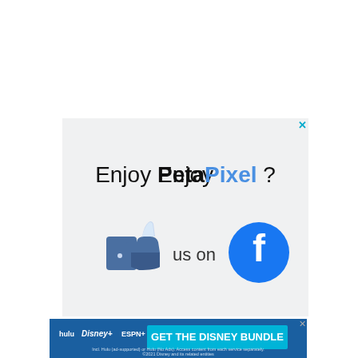[Figure (infographic): PetaPixel Facebook like advertisement: 'Enjoy PetaPixel? Like us on Facebook' with thumbs-up icon and Facebook logo circle]
[Figure (infographic): Disney Bundle advertisement banner with Hulu, Disney+, ESPN+ logos and 'GET THE DISNEY BUNDLE' call to action in blue]